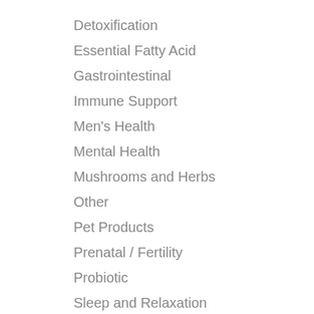Detoxification
Essential Fatty Acid
Gastrointestinal
Immune Support
Men's Health
Mental Health
Mushrooms and Herbs
Other
Pet Products
Prenatal / Fertility
Probiotic
Sleep and Relaxation
Sports Nutrition
Vitamins and Minerals